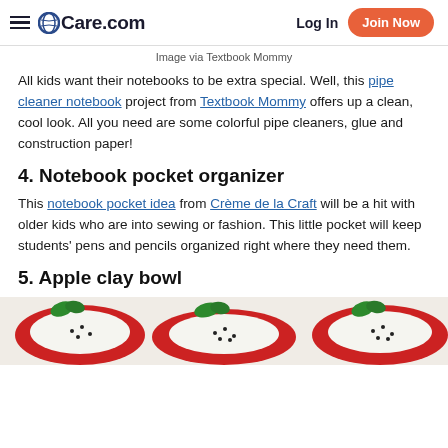Care.com | Log In | Join Now
Image via Textbook Mommy
All kids want their notebooks to be extra special. Well, this pipe cleaner notebook project from Textbook Mommy offers up a clean, cool look. All you need are some colorful pipe cleaners, glue and construction paper!
4. Notebook pocket organizer
This notebook pocket idea from Crème de la Craft will be a hit with older kids who are into sewing or fashion. This little pocket will keep students' pens and pencils organized right where they need them.
5. Apple clay bowl
[Figure (photo): Close-up photo of colorful clay apple bowls with red, white and green colors, multiple apples visible]